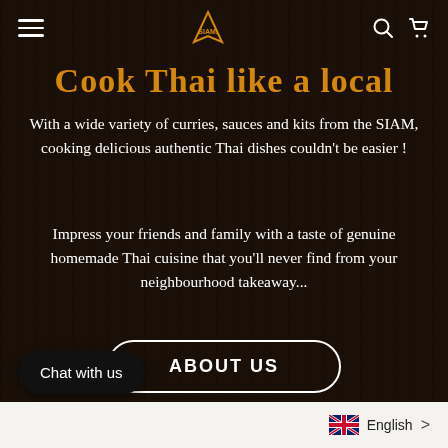SIAM navigation bar with hamburger menu, SIAM logo, search and cart icons
Cook Thai like a local
With a wide variety of curries, sauces and kits from the SIAM, cooking delicious authentic Thai dishes couldn't be easier !
Impress your friends and family with a taste of genuine homemade Thai cuisine that you'll never find from your neighbourhood takeaway...
ABOUT US
Chat with us
English >